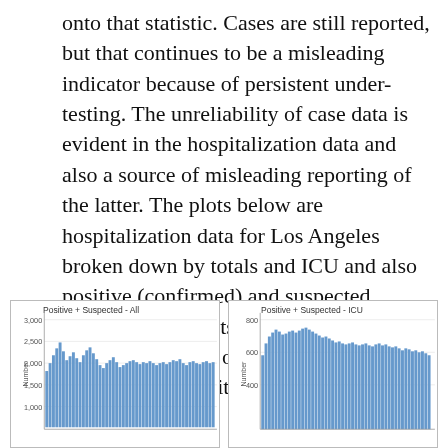onto that statistic. Cases are still reported, but that continues to be a misleading indicator because of persistent under-testing. The unreliability of case data is evident in the hospitalization data and also a source of misleading reporting of the latter. The plots below are hospitalization data for Los Angeles broken down by totals and ICU and also positive (confirmed) and suspected COVID-19 patients. This creates four plots and the sum of confirmed and suspected bumps it up to six plots:
[Figure (bar-chart): Bar chart showing Positive + Suspected All hospitalizations in Los Angeles over time, with values ranging roughly from 1000 to 2500]
[Figure (bar-chart): Bar chart showing Positive + Suspected ICU hospitalizations in Los Angeles over time, with values ranging roughly from 400 to 800]